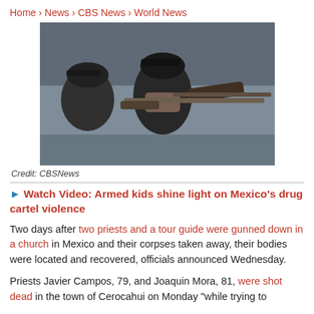Home › News › CBS News › World News
[Figure (photo): Children in baseball caps, one with a face mask, holding rifles aimed off to the right. Photo by CBSNews.]
Credit: CBSNews
▶ Watch Video: Armed kids shine light on Mexico's drug cartel violence
Two days after two priests and a tour guide were gunned down in a church in Mexico and their corpses taken away, their bodies were located and recovered, officials announced Wednesday.
Priests Javier Campos, 79, and Joaquin Mora, 81, were shot dead in the town of Cerocahui on Monday "while trying to